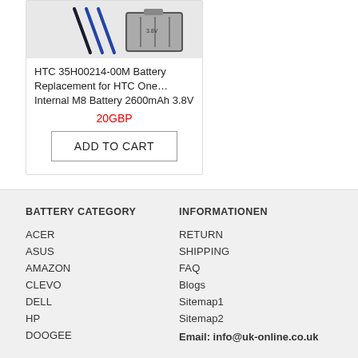[Figure (photo): Product image of HTC battery and tools on white background]
HTC 35H00214-00M Battery Replacement for HTC One… Internal M8 Battery 2600mAh 3.8V
20GBP
ADD TO CART
BATTERY CATEGORY
INFORMATIONEN
ACER
RETURN
ASUS
SHIPPING
AMAZON
FAQ
CLEVO
Blogs
DELL
Sitemap1
HP
Sitemap2
DOOGEE
Email: info@uk-online.co.uk